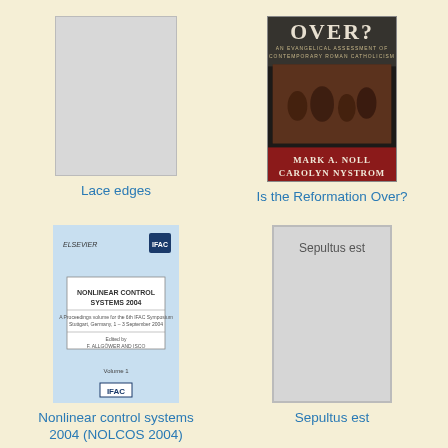[Figure (illustration): Gray blank book cover for 'Lace edges']
Lace edges
[Figure (illustration): Book cover for 'Is the Reformation Over?' by Mark A. Noll and Carolyn Nystrom, dark background with historical painting]
Is the Reformation Over?
[Figure (illustration): Light blue book cover for 'Nonlinear control systems 2004 (NOLCOS 2004)', Elsevier/IFAC publication]
Nonlinear control systems 2004 (NOLCOS 2004)
[Figure (illustration): Gray blank book cover for 'Sepultus est' with text inside]
Sepultus est